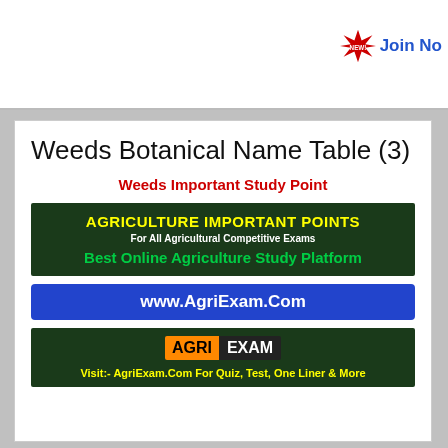Join Now
Weeds Botanical Name Table (3)
Weeds Important Study Point
[Figure (infographic): Agriculture Important Points banner: yellow text 'AGRICULTURE IMPORTANT POINTS', white text 'For All Agricultural Competitive Exams', green text 'Best Online Agriculture Study Platform' on dark green background]
[Figure (infographic): Blue banner with white text 'www.AgriExam.Com']
[Figure (logo): AgriExam logo: AGRI in orange box, EXAM in dark box, yellow text 'Visit:- AgriExam.Com For Quiz, Test, One Liner & More' on dark green background]